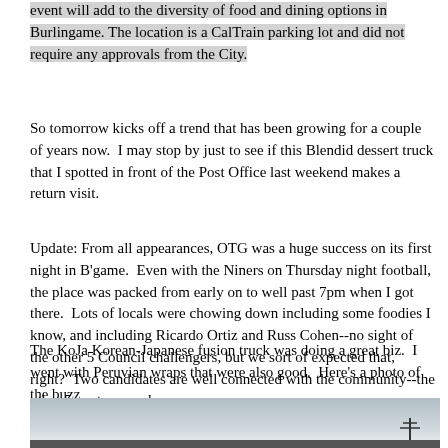event will add to the diversity of food and dining options in Burlingame. The location is a CalTrain parking lot and did not require any approvals from the City.
So tomorrow kicks off a trend that has been growing for a couple of years now.  I may stop by just to see if this Blendid dessert truck that I spotted in front of the Post Office last weekend makes a return visit.
Update: From all appearances, OTG was a huge success on its first night in B'game.  Even with the Niners on Thursday night football, the place was packed from early on to well past 7pm when I got there.  Lots of locals were chowing down including some foodies I know, and including Ricardo Ortiz and Russ Cohen--no sight of the other 5 Council challengers, but we sort of expected that, right?  Two candidates are well connected with the community--the other 5--not so much.
The KoJa Korean-Japanese fusion truck was doing a great biz.  I went with Peruvian wraps that were also good.  Here's a photo of the buzz
[Figure (photo): An outdoor photo showing a gathering of people at what appears to be a food truck event in a parking lot, with a light blue/grey sky in the background and some structures visible at the bottom.]